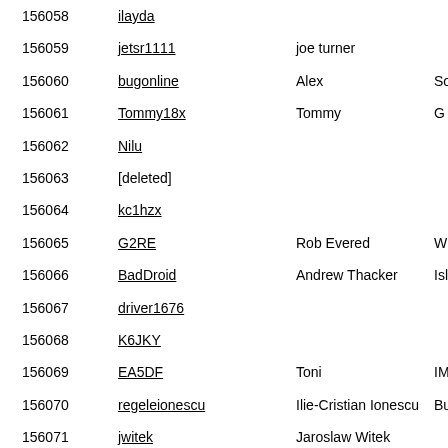| ID | Username | Name | Extra |
| --- | --- | --- | --- |
| 156058 | ilayda |  |  |
| 156059 | jetsr1111 | joe turner |  |
| 156060 | bugonline | Alex | So… |
| 156061 | Tommy18x | Tommy | G… |
| 156062 | Nilu |  |  |
| 156063 | [deleted] |  |  |
| 156064 | kc1hzx |  |  |
| 156065 | G2RE | Rob Evered | W… |
| 156066 | BadDroid | Andrew Thacker | Isl… Fl… |
| 156067 | driver1676 |  |  |
| 156068 | K6JKY |  |  |
| 156069 | EA5DF | Toni | IM… |
| 156070 | regeleionescu | Ilie-Cristian Ionescu | Bu… |
| 156071 | jwitek | Jaroslaw Witek |  |
| 156072 | ik0vvp | Giuseppe Grasso | jn… |
| 156073 | Rumplestiltskin |  |  |
| 156074 | ignacionbustos | Ignacio | An… |